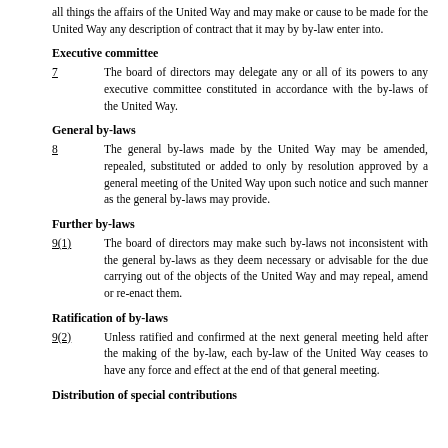all things the affairs of the United Way and may make or cause to be made for the United Way any description of contract that it may by by-law enter into.
Executive committee
7	The board of directors may delegate any or all of its powers to any executive committee constituted in accordance with the by-laws of the United Way.
General by-laws
8	The general by-laws made by the United Way may be amended, repealed, substituted or added to only by resolution approved by a general meeting of the United Way upon such notice and such manner as the general by-laws may provide.
Further by-laws
9(1)	The board of directors may make such by-laws not inconsistent with the general by-laws as they deem necessary or advisable for the due carrying out of the objects of the United Way and may repeal, amend or re-enact them.
Ratification of by-laws
9(2)	Unless ratified and confirmed at the next general meeting held after the making of the by-law, each by-law of the United Way ceases to have any force and effect at the end of that general meeting.
Distribution of special contributions